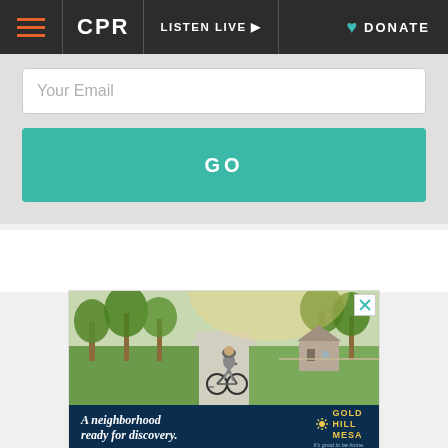CPR | LISTEN LIVE | DONATE
Your Email
GO
[Figure (photo): A child riding a bicycle on a suburban tree-lined sidewalk with green lawns and houses in the background. Advertisement for Gold Hill Mesa neighborhood.]
A neighborhood ready for discovery. GOLD HILL MESA — It's good to be home.